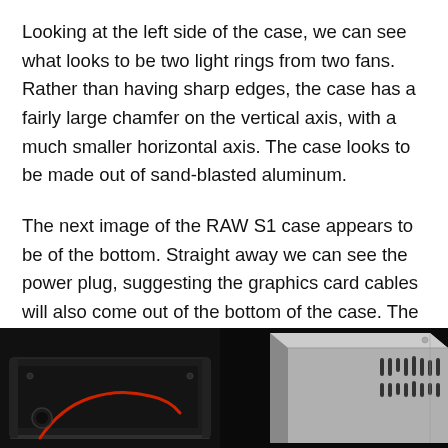Looking at the left side of the case, we can see what looks to be two light rings from two fans. Rather than having sharp edges, the case has a fairly large chamfer on the vertical axis, with a much smaller horizontal axis. The case looks to be made out of sand-blasted aluminum.
The next image of the RAW S1 case appears to be of the bottom. Straight away we can see the power plug, suggesting the graphics card cables will also come out of the bottom of the case. The motherboard ports will likely still be on the rear.
[Figure (photo): Two photos of the RAW S1 PC case. Left photo shows the bottom interior of a dark metal case with a red cable visible. Right photo shows a silver/aluminum case panel with ventilation slots against a dark background.]